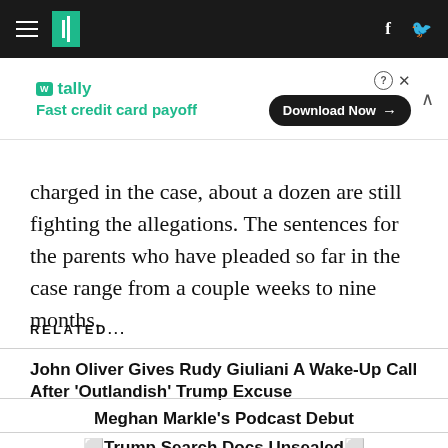HuffPost navigation bar with hamburger menu, logo, Facebook and Twitter icons
[Figure (screenshot): Tally advertisement banner: 'Fast credit card payoff' with Download Now button]
charged in the case, about a dozen are still fighting the allegations. The sentences for the parents who have pleaded so far in the case range from a couple weeks to nine months.
RELATED...
John Oliver Gives Rudy Giuliani A Wake-Up Call After 'Outlandish' Trump Excuse
Meghan Markle's Podcast Debut
🔲Trump Search Docs Unsealed🔲